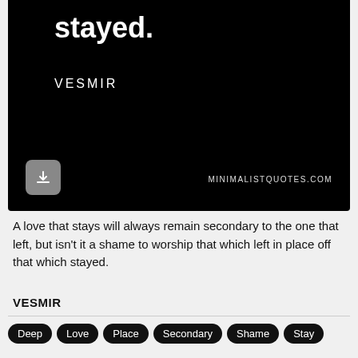[Figure (screenshot): Black background image card showing the text 'stayed.' in bold white and 'VESMIR' in white spaced letters, with a download arrow button and MINIMALISTQUOTES.COM watermark]
A love that stays will always remain secondary to the one that left, but isn't it a shame to worship that which left in place off that which stayed.
VESMIR
Deep
Love
Place
Secondary
Shame
Stay